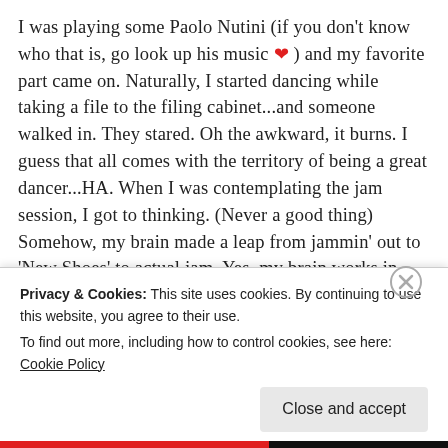I was playing some Paolo Nutini (if you don't know who that is, go look up his music ❤ ) and my favorite part came on. Naturally, I started dancing while taking a file to the filing cabinet...and someone walked in. They stared. Oh the awkward, it burns. I guess that all comes with the territory of being a great dancer...HA. When I was contemplating the jam session, I got to thinking. (Never a good thing) Somehow, my brain made a leap from jammin' out to 'New Shoes' to actual jam. Yes, my brain works in strange and mysterious ways. It baffles even me sometimes. ANYWAY. I was thinking about how I never get to make jam when I'm at school because it takes forever with all that mashing, boiling, sterilizing, and waiting. Patience is a virtue I lack. After some research on the internet I saw lots of
Privacy & Cookies: This site uses cookies. By continuing to use this website, you agree to their use.
To find out more, including how to control cookies, see here: Cookie Policy
Close and accept